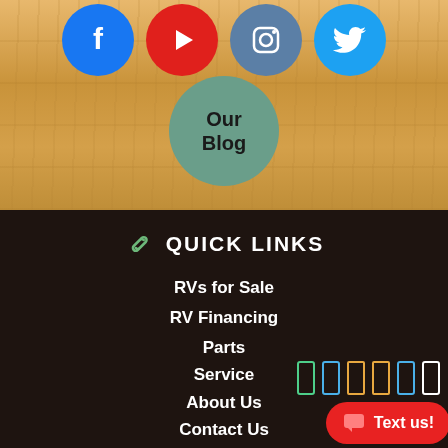[Figure (illustration): Wood-textured background section with social media icons (Facebook blue, YouTube red, Instagram gray-blue, Twitter blue) and a teal 'Our Blog' circle button]
QUICK LINKS
RVs for Sale
RV Financing
Parts
Service
About Us
Contact Us
[Figure (infographic): Text us! chat button in red with speech bubble icon, overlaid with colored signal bar icons]